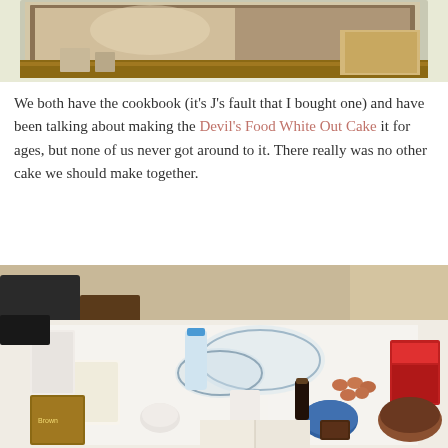[Figure (photo): Top portion of a photo showing a cookbook with decorative painting/artwork on a wooden surface, cropped at top of page]
We both have the cookbook (it's J's fault that I bought one) and have been talking about making the Devil's Food White Out Cake it for ages, but none of us never got around to it. There really was no other cake we should make together.
[Figure (photo): Photo of baking ingredients and supplies spread out on a white table: mixing bowls, measuring cups, eggs, flour, butter, vanilla extract, and a cookbook open to a recipe page]